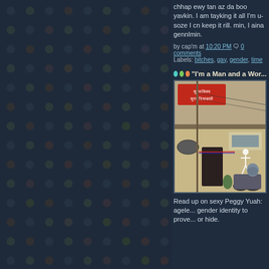chhap ewy tan az da boo yavkin. I am tayking it all I'm u-soze I cn keep it rill. min, I aina gennlmin.
by cap'm at 10:20 PM 0 comments Labels: bitches, gay, gender, time
"I'm a Man and a Wor...
[Figure (photo): Street scene in India showing a building with Hindi/Devanagari script signs, a skeleton mural on wall, and person on scooter in foreground]
Read up on sexy Peggy Yuah: agele... gender identity to prove... or hide.